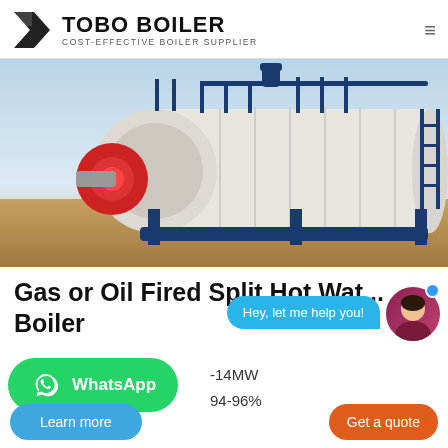TOBO BOILER — COST-EFFECTIVE BOILER SUPPLIER
[Figure (photo): Industrial gas or oil fired split hot water boiler on a construction/desert site, white cylindrical tank with blue metal frame and red burner component.]
Gas or Oil Fired Split Hot Water Boiler
Hey, let me help you!
WhatsApp
-14MW
94-96%
Learn more
Get a quote